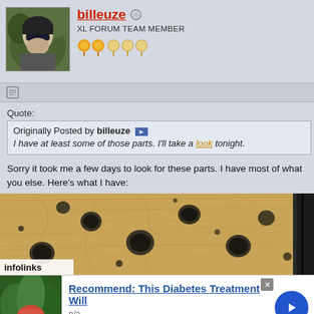billeuze — XL FORUM TEAM MEMBER
Quote: Originally Posted by billeuze — I have at least some of those parts. I'll take a look tonight.
Sorry it took me a few days to look for these parts. I have most of what you else. Here's what I have:
[Figure (photo): Close-up photo of wooden surface with dark spots/holes, and a dark metal rod on the right edge]
infolinks
Recommend: This Diabetes Treatment Will — n/a